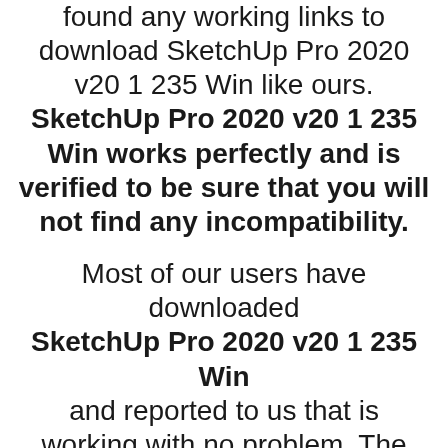found any working links to download SketchUp Pro 2020 v20 1 235 Win like ours. SketchUp Pro 2020 v20 1 235 Win works perfectly and is verified to be sure that you will not find any incompatibility.
Most of our users have downloaded SketchUp Pro 2020 v20 1 235 Win and reported to us that is working with no problem. The SketchUp Pro 2020 v20 1 235 Win runs